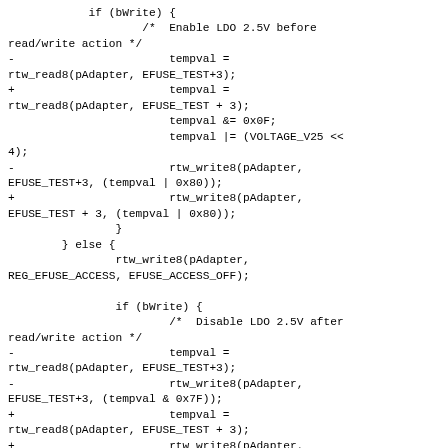if (bWrite) {
                /* Enable LDO 2.5V before read/write action */
-                       tempval = rtw_read8(pAdapter, EFUSE_TEST+3);
+                       tempval = rtw_read8(pAdapter, EFUSE_TEST + 3);
                        tempval &= 0x0F;
                        tempval |= (VOLTAGE_V25 << 4);
-                       rtw_write8(pAdapter, EFUSE_TEST+3, (tempval | 0x80));
+                       rtw_write8(pAdapter, EFUSE_TEST + 3, (tempval | 0x80));
                }
        } else {
                rtw_write8(pAdapter, REG_EFUSE_ACCESS, EFUSE_ACCESS_OFF);

                if (bWrite) {
                        /* Disable LDO 2.5V after read/write action */
-                       tempval = rtw_read8(pAdapter, EFUSE_TEST+3);
-                       rtw_write8(pAdapter, EFUSE_TEST+3, (tempval & 0x7F));
+                       tempval = rtw_read8(pAdapter, EFUSE_TEST + 3);
+                       rtw_write8(pAdapter, EFUSE_TEST + 3, (tempval & 0x7F));